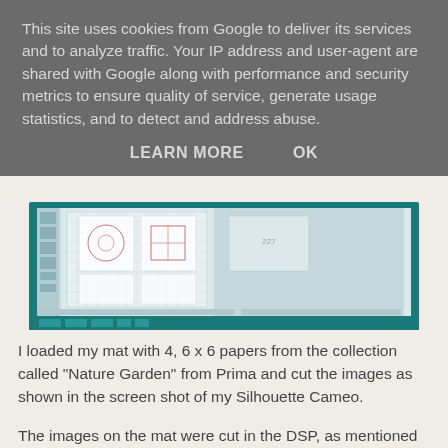This site uses cookies from Google to deliver its services and to analyze traffic. Your IP address and user-agent are shared with Google along with performance and security metrics to ensure quality of service, generate usage statistics, and to detect and address abuse.
LEARN MORE    OK
[Figure (screenshot): Screenshot of Silhouette Cameo software showing a cutting mat with 6x6 paper layouts and grid]
I loaded my mat with 4, 6 x 6 papers from the collection called "Nature Garden" from Prima and cut the images as shown in the screen shot of my Silhouette Cameo.
The images on the mat were cut in the DSP, as mentioned and the bits to the side were cut on the base cardstock I used, which was Stampin' Up's Natural white.